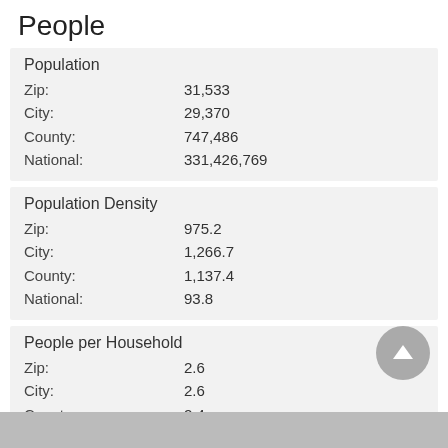People
|  | Population |
| --- | --- |
| Zip: | 31,533 |
| City: | 29,370 |
| County: | 747,486 |
| National: | 331,426,769 |
|  | Population Density |
| --- | --- |
| Zip: | 975.2 |
| City: | 1,266.7 |
| County: | 1,137.4 |
| National: | 93.8 |
|  | People per Household |
| --- | --- |
| Zip: | 2.6 |
| City: | 2.6 |
| County: | 2.4 |
| National: | 2.6 |
|  | Median Age |
| --- | --- |